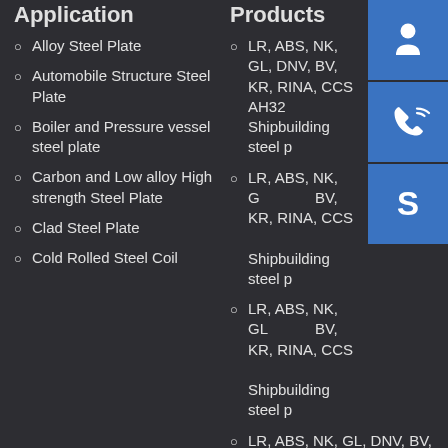Application
Alloy Steel Plate
Automobile Structure Steel Plate
Boiler and Pressure vessel steel plate
Carbon and Low alloy High strength Steel Plate
Clad Steel Plate
Cold Rolled Steel Coil
Products
LR, ABS, NK, GL, DNV, BV, KR, RINA, CCS AH32 Shipbuilding steel plate
LR, ABS, NK, GL, DNV, BV, KR, RINA, CCS Shipbuilding steel plate
LR, ABS, NK, GL, DNV, BV, KR, RINA, CCS Shipbuilding steel plate
LR, ABS, NK, GL, DNV, BV, KR, RINA, CCS, Grade D Shipbuilding steel plate
Contact US
Henan Eddie Iron & Steel Co., Ltd